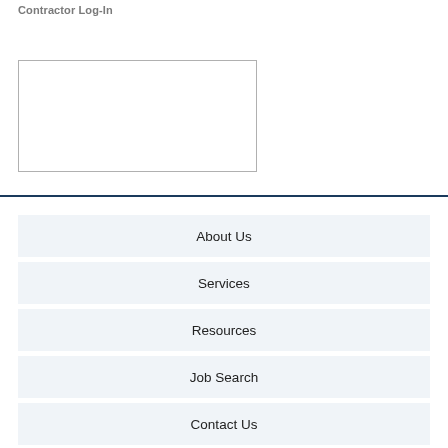Contractor Log-In
[Figure (other): Empty login form box with border]
About Us
Services
Resources
Job Search
Contact Us
Contractor Login